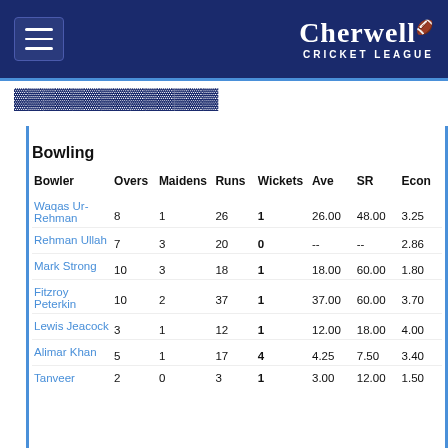Cherwell Cricket League
Bowling
| Bowler | Overs | Maidens | Runs | Wickets | Ave | SR | Econ |
| --- | --- | --- | --- | --- | --- | --- | --- |
| Waqas Ur-Rehman | 8 | 1 | 26 | 1 | 26.00 | 48.00 | 3.25 |
| Rehman Ullah | 7 | 3 | 20 | 0 | -- | -- | 2.86 |
| Mark Strong | 10 | 3 | 18 | 1 | 18.00 | 60.00 | 1.80 |
| Fitzroy Peterkin | 10 | 2 | 37 | 1 | 37.00 | 60.00 | 3.70 |
| Lewis Jeacock | 3 | 1 | 12 | 1 | 12.00 | 18.00 | 4.00 |
| Alimar Khan | 5 | 1 | 17 | 4 | 4.25 | 7.50 | 3.40 |
| Tanveer | 2 | 0 | 3 | 1 | 3.00 | 12.00 | 1.50 |